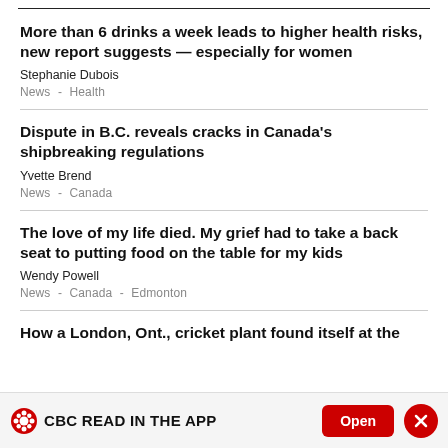More than 6 drinks a week leads to higher health risks, new report suggests — especially for women
Stephanie Dubois
News  -  Health
Dispute in B.C. reveals cracks in Canada's shipbreaking regulations
Yvette Brend
News  -  Canada
The love of my life died. My grief had to take a back seat to putting food on the table for my kids
Wendy Powell
News  -  Canada  -  Edmonton
How a London, Ont., cricket plant found itself at the
CBC READ IN THE APP  Open